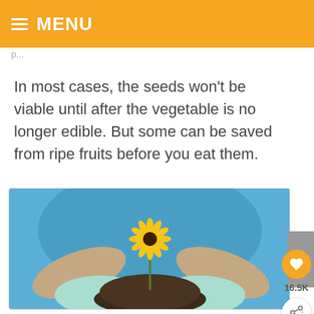≡ MENU
In most cases, the seeds won't be viable until after the vegetable is no longer edible. But some can be saved from ripe fruits before you eat them.
[Figure (photo): Person in a blue shirt wearing light blue gardening gloves, holding a mound of dark soil with a yellow daisy (black-eyed Susan) flower growing from it.]